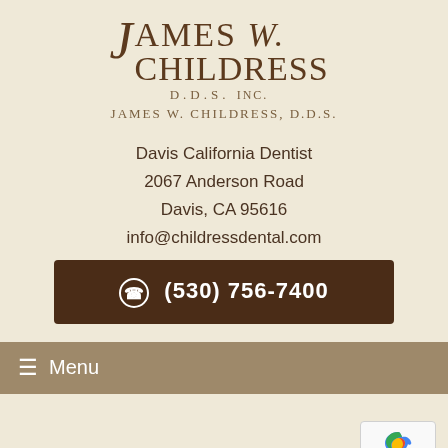[Figure (logo): James W. Childress D.D.S. Inc. dental practice logo with stylized serif typography in brown tones]
James W. Childress, D.D.S.
Davis California Dentist
2067 Anderson Road
Davis, CA 95616
info@childressdental.com
(530) 756-7400
≡ Menu
Month: January 2021